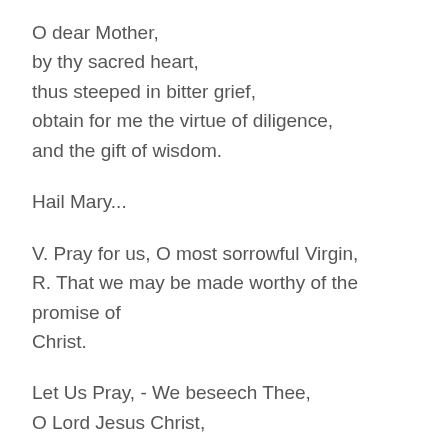O dear Mother,
by thy sacred heart,
thus steeped in bitter grief,
obtain for me the virtue of diligence,
and the gift of wisdom.
Hail Mary...
V. Pray for us, O most sorrowful Virgin,
R. That we may be made worthy of the promise of Christ.
Let Us Pray, - We beseech Thee,
O Lord Jesus Christ,